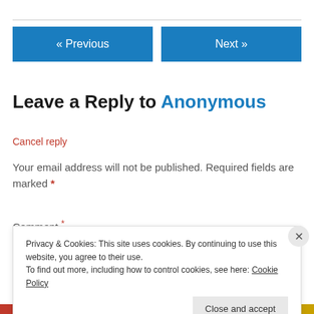[Figure (other): Navigation buttons: « Previous and Next »]
Leave a Reply to Anonymous
Cancel reply
Your email address will not be published. Required fields are marked *
Privacy & Cookies: This site uses cookies. By continuing to use this website, you agree to their use. To find out more, including how to control cookies, see here: Cookie Policy
Close and accept